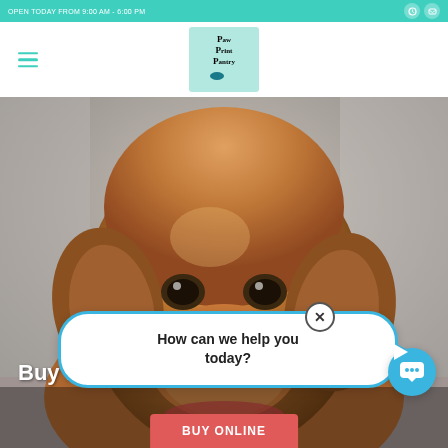OPEN TODAY FROM 9:00 AM - 6:00 PM
[Figure (logo): Paw Print Pantry logo in teal box with paw print icon]
[Figure (photo): Close-up photo of a golden retriever dog looking at camera, warm brown tones]
Buy Fuss... in
How can we help you today?
BUY ONLINE